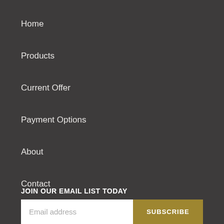Home
Products
Current Offer
Payment Options
About
Contact
JOIN OUR EMAIL LIST TODAY
Email address
SUBSCRIBE